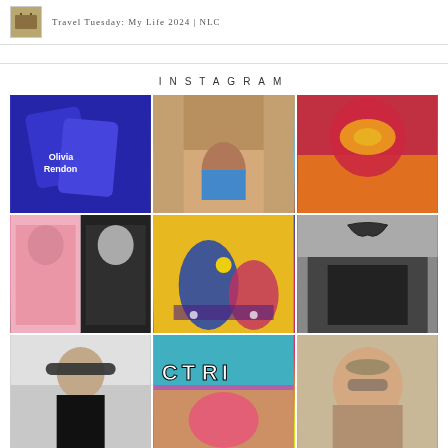Travel Tuesday: My Life 2024 | NLC
INSTAGRAM
[Figure (photo): Blue luggage tags reading 'Olivia Rendon']
[Figure (photo): Young girl in blue dress sitting in a hallway with brick walls]
[Figure (photo): Red drink with orange slice garnish]
[Figure (photo): Two women in dresses holding wine glasses]
[Figure (photo): Colorful mural with dancing figures on yellow background]
[Figure (photo): Building exterior with stylized logo signage]
[Figure (photo): Person with sunglasses indoors]
[Figure (photo): CTRI sign with colorful mural]
[Figure (photo): Close-up of a person's face]